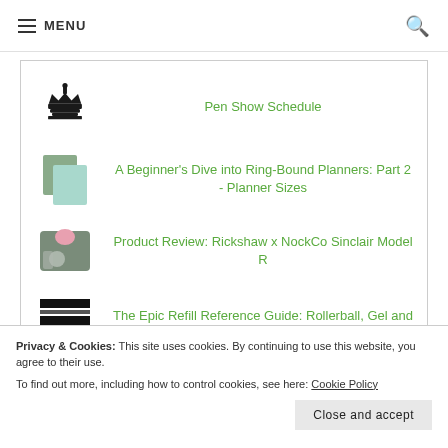MENU
Pen Show Schedule
A Beginner's Dive into Ring-Bound Planners: Part 2 - Planner Sizes
Product Review: Rickshaw x NockCo Sinclair Model R
The Epic Refill Reference Guide: Rollerball, Gel and Ballpoints
Privacy & Cookies: This site uses cookies. By continuing to use this website, you agree to their use.
To find out more, including how to control cookies, see here: Cookie Policy
Close and accept